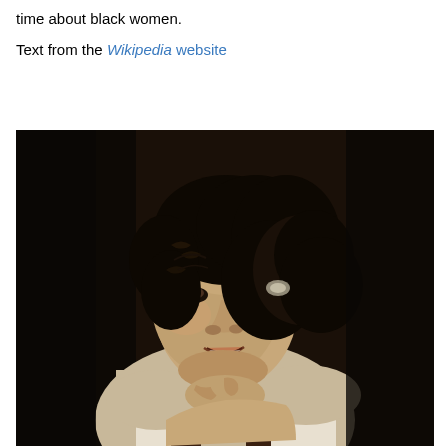time about black women.
Text from the Wikipedia website
[Figure (photo): Black and white portrait photograph of a young woman with short curly dark hair styled in a 1920s-1930s fashion, wearing a pearl necklace and light-colored dress, resting her chin on her hand and smiling slightly at the camera. The background is dark.]